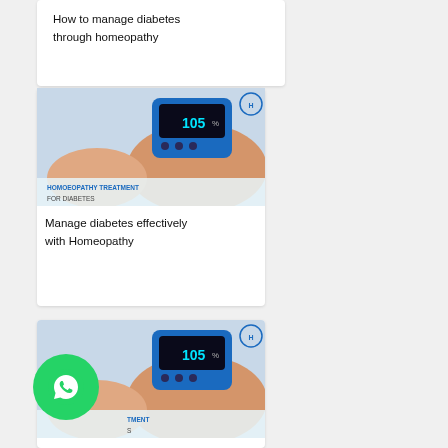How to manage diabetes through homeopathy
[Figure (photo): Blood glucose meter showing reading of 105, hands performing a blood glucose test, with 'HOMOEOPATHY TREATMENT FOR DIABETES' text overlay and homeopathy clinic logo]
Manage diabetes effectively with Homeopathy
[Figure (photo): Blood glucose meter showing reading of 105, hands performing a blood glucose test, with WhatsApp button overlay and homeopathy clinic logo]
How Homeopathy Can Help To Treat Diabetes